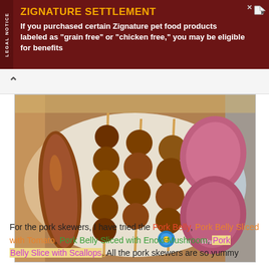[Figure (other): Advertisement banner: ZIGNATURE SETTLEMENT - If you purchased certain Zignature pet food products labeled as 'grain free' or 'chicken free,' you may be eligible for benefits]
[Figure (photo): Food photo showing grilled pork skewers and sausages on a white rectangular plate, with a watermark logo reading 'Selina M Wan']
For the pork skewers, I have tried the Pork Belly, Pork Belly Sliced with Tomato, Pork Belly Sliced with Enoki Mushroom, Pork Belly Slice with Scallops. All the pork skewers are so yummy